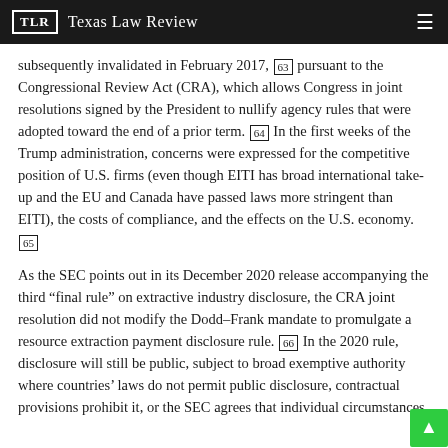TLR  Texas Law Review
subsequently invalidated in February 2017, [63] pursuant to the Congressional Review Act (CRA), which allows Congress in joint resolutions signed by the President to nullify agency rules that were adopted toward the end of a prior term. [64] In the first weeks of the Trump administration, concerns were expressed for the competitive position of U.S. firms (even though EITI has broad international take-up and the EU and Canada have passed laws more stringent than EITI), the costs of compliance, and the effects on the U.S. economy. [65]
As the SEC points out in its December 2020 release accompanying the third “final rule” on extractive industry disclosure, the CRA joint resolution did not modify the Dodd–Frank mandate to promulgate a resource extraction payment disclosure rule. [66] In the 2020 rule, disclosure will still be public, subject to broad exemptive authority where countries’ laws do not permit public disclosure, contractual provisions prohibit it, or the SEC agrees that individual circumstances